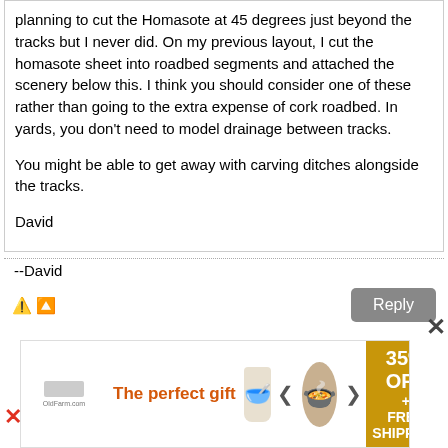planning to cut the Homasote at 45 degrees just beyond the tracks but I never did. On my previous layout, I cut the homasote sheet into roadbed segments and attached the scenery below this. I think you should consider one of these rather than going to the extra expense of cork roadbed. In yards, you don't need to model drainage between tracks.

You might be able to get away with carving ditches alongside the tracks.

David
--David
[Figure (screenshot): Advertisement banner: 'The perfect gift' with food image, navigation arrows, and '35% OFF + FREE SHIPPING' offer badge]